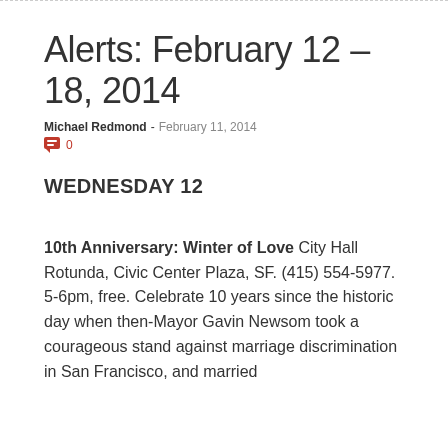Alerts: February 12 – 18, 2014
Michael Redmond - February 11, 2014  0
WEDNESDAY 12
10th Anniversary: Winter of Love City Hall Rotunda, Civic Center Plaza, SF. (415) 554-5977. 5-6pm, free. Celebrate 10 years since the historic day when then-Mayor Gavin Newsom took a courageous stand against marriage discrimination in San Francisco, and married